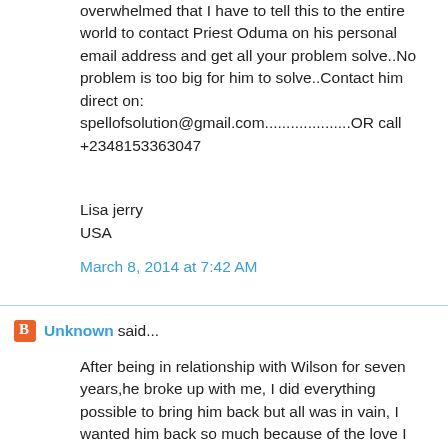overwhelmed that I have to tell this to the entire world to contact Priest Oduma on his personal email address and get all your problem solve..No problem is too big for him to solve..Contact him direct on: spellofsolution@gmail.com....................OR call +2348153363047
Lisa jerry
USA
March 8, 2014 at 7:42 AM
Unknown said...
After being in relationship with Wilson for seven years,he broke up with me, I did everything possible to bring him back but all was in vain, I wanted him back so much because of the love I have for him, I begged him with everything, I made promises but he refused. I explained my problem to someone online and she suggested that I should contact a spell caster that could help me cast a spell to bring him back but I am the type that don't believed in spell, I had no choice than to try it, I meant a spell caster